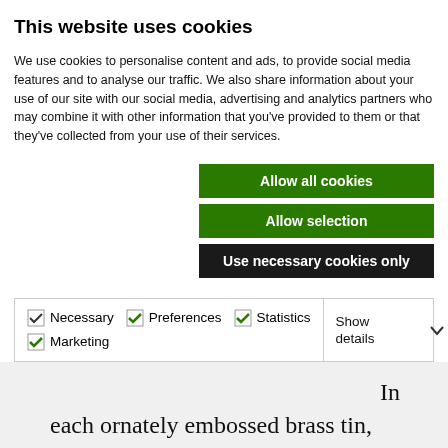This website uses cookies
We use cookies to personalise content and ads, to provide social media features and to analyse our traffic. We also share information about your use of our site with our social media, advertising and analytics partners who may combine it with other information that you've provided to them or that they've collected from your use of their services.
Allow all cookies | Allow selection | Use necessary cookies only
Necessary  Preferences  Statistics  Marketing  Show details
In each ornately embossed brass tin, soldiers could enjoy cigarettes, tobacco, a pipe, and a lighter as well as a Christmas Card from the Princess and photos of Princess Mary and her parents King George V and Queen Mary. This gesture was no small feat but it had a tremendous effect on the morale of the troops